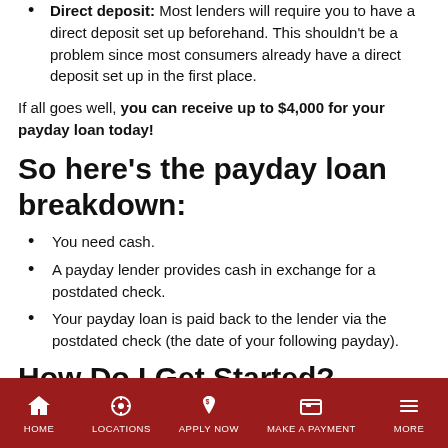Direct deposit: Most lenders will require you to have a direct deposit set up beforehand. This shouldn't be a problem since most consumers already have a direct deposit set up in the first place.
If all goes well, you can receive up to $4,000 for your payday loan today!
So here's the payday loan breakdown:
You need cash.
A payday lender provides cash in exchange for a postdated check.
Your payday loan is paid back to the lender via the postdated check (the date of your following payday).
How Do I Get Started?
Getting started is easy. You can contact your local lender, visit a
HOME   LOCATIONS   APPLY NOW   MAKE A PAYMENT   MORE